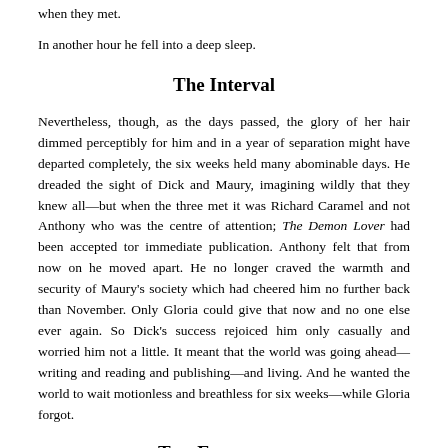when they met.
In another hour he fell into a deep sleep.
The Interval
Nevertheless, though, as the days passed, the glory of her hair dimmed perceptibly for him and in a year of separation might have departed completely, the six weeks held many abominable days. He dreaded the sight of Dick and Maury, imagining wildly that they knew all—but when the three met it was Richard Caramel and not Anthony who was the centre of attention; The Demon Lover had been accepted tor immediate publication. Anthony felt that from now on he moved apart. He no longer craved the warmth and security of Maury's society which had cheered him no further back than November. Only Gloria could give that now and no one else ever again. So Dick's success rejoiced him only casually and worried him not a little. It meant that the world was going ahead—writing and reading and publishing—and living. And he wanted the world to wait motionless and breathless for six weeks—while Gloria forgot.
Two Encounters